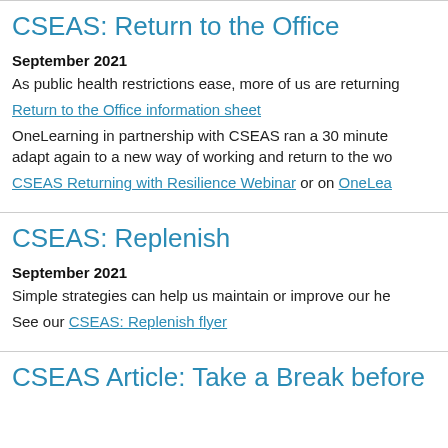CSEAS: Return to the Office
September 2021
As public health restrictions ease, more of us are returning…
Return to the Office information sheet
OneLearning in partnership with CSEAS ran a 30 minute webinar to help employees adapt again to a new way of working and return to the wo…
CSEAS Returning with Resilience Webinar or on OneLea…
CSEAS: Replenish
September 2021
Simple strategies can help us maintain or improve our he…
See our CSEAS: Replenish flyer
CSEAS Article: Take a Break before